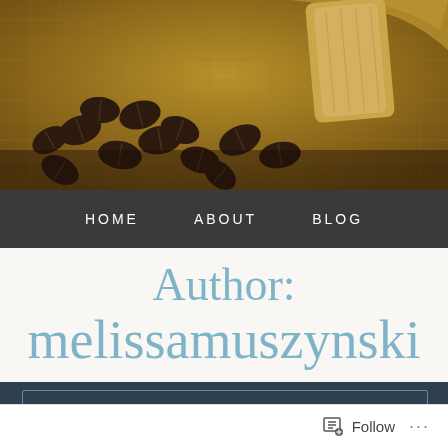[Figure (photo): Coffee beans spilling out of a burlap sack on burlap fabric background, dark roasted beans, warm golden-brown tones]
HOME   ABOUT   BLOG
Author: melissamuszynski
Follow